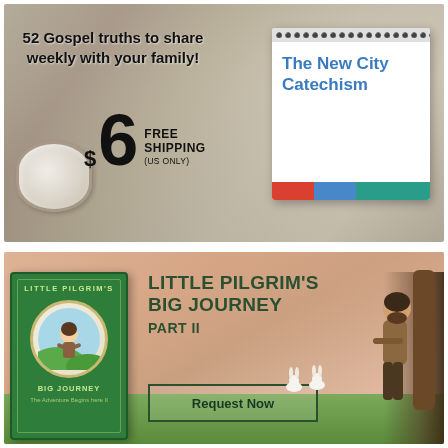[Figure (illustration): Advertisement for The New City Catechism. Shows a blurred family scene background with a coffee mug, toy truck, open Bible. Text overlay: '52 Gospel truths to share weekly with your family!' and '$6 FREE SHIPPING (US ONLY)'. A desk calendar displays 'The New City Catechism' with colored bar at bottom.]
[Figure (illustration): Advertisement for Little Pilgrim's Big Journey Part II. Peach/salmon background with illustrated pastoral scene. Green book cover shown on left side. Text: 'LITTLE PILGRIM'S BIG JOURNEY PART II' with a 'Request Now' button. Illustrated character of a man leaning against a tree on the right.]